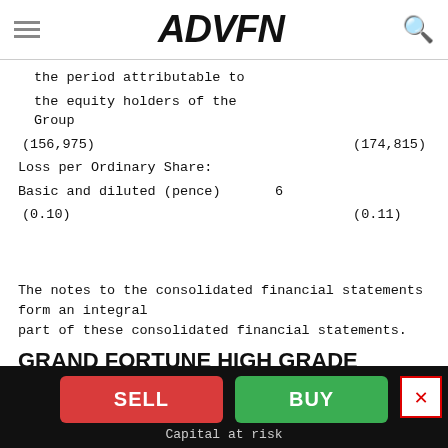ADVFN
| the period attributable to |  |  |
| the equity holders of the Group |  |  |
| (156,975) |  | (174,815) |
| Loss per Ordinary Share: |  |  |
| Basic and diluted (pence) | 6 |  |
| (0.10) |  | (0.11) |
The notes to the consolidated financial statements form an integral part of these consolidated financial statements.
GRAND FORTUNE HIGH GRADE LIMITED